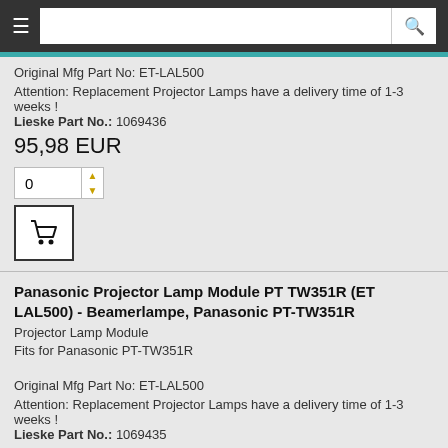Navigation bar with hamburger menu and search box
Original Mfg Part No: ET-LAL500
Attention: Replacement Projector Lamps have a delivery time of 1-3 weeks ! Lieske Part No.: 1069436
95,98 EUR
Panasonic Projector Lamp Module PT TW351R (ET LAL500) - Beamerlampe, Panasonic PT-TW351R
Projector Lamp Module
Fits for Panasonic PT-TW351R
Original Mfg Part No: ET-LAL500
Attention: Replacement Projector Lamps have a delivery time of 1-3 weeks ! Lieske Part No.: 1069435
168,63 EUR